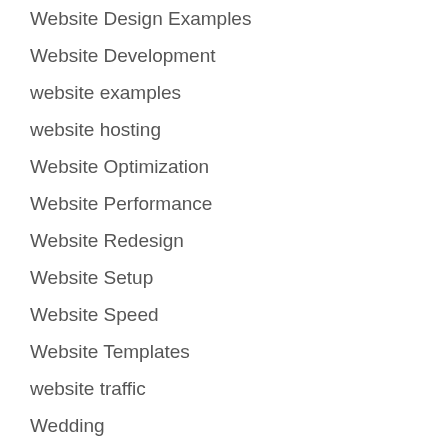Website Design Examples
Website Development
website examples
website hosting
Website Optimization
Website Performance
Website Redesign
Website Setup
Website Speed
Website Templates
website traffic
Wedding
Wedding Photography